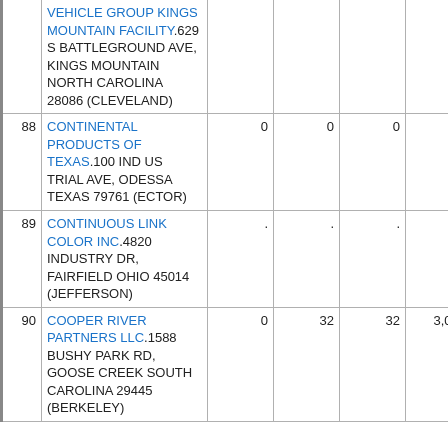| # | Name/Address | Col1 | Col2 | Col3 | Col4 |
| --- | --- | --- | --- | --- | --- |
|  | VEHICLE GROUP KINGS MOUNTAIN FACILITY.629 S BATTLEGROUND AVE, KINGS MOUNTAIN NORTH CAROLINA 28086 (CLEVELAND) |  |  |  |  |
| 88 | CONTINENTAL PRODUCTS OF TEXAS.100 IND US TRIAL AVE, ODESSA TEXAS 79761 (ECTOR) | 0 | 0 | 0 | 0 |
| 89 | CONTINUOUS LINK COLOR INC.4820 INDUSTRY DR, FAIRFIELD OHIO 45014 (JEFFERSON) | . | . | . | . |
| 90 | COOPER RIVER PARTNERS LLC.1588 BUSHY PARK RD, GOOSE CREEK SOUTH CAROLINA 29445 (BERKELEY) | 0 | 32 | 32 | 3,066 |